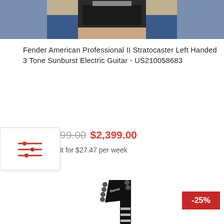[Figure (photo): Top portion of a guitar product listing page showing the lower part of a person sitting, cropped at the top of the page]
Fender American Professional II Stratocaster Left Handed 3 Tone Sunburst Electric Guitar - US210058683
[Figure (other): Filter/sliders icon in a white box overlay]
99.00 $2,399.00
it for $27.47 per week
[Figure (photo): Ibanez electric guitar neck and headstock shown vertically, black finish with white fret markers, against white background]
-25%